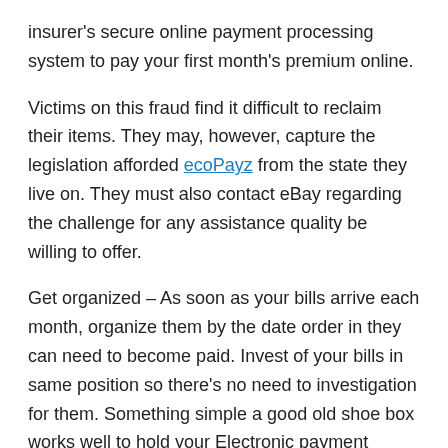insurer's secure online payment processing system to pay your first month's premium online.
Victims on this fraud find it difficult to reclaim their items. They may, however, capture the legislation afforded ecoPayz from the state they live on. They must also contact eBay regarding the challenge for any assistance quality be willing to offer.
Get organized – As soon as your bills arrive each month, organize them by the date order in they can need to become paid. Invest of your bills in same position so there's no need to investigation for them. Something simple a good old shoe box works well to hold your Electronic payment systems. I write the due date on the outside of the envelope in order to see at your quick glance when the bank notes are due.
First of all, if you happen to not have a Paypal account already, do you a favor and go set one up today. It free, secure and the best